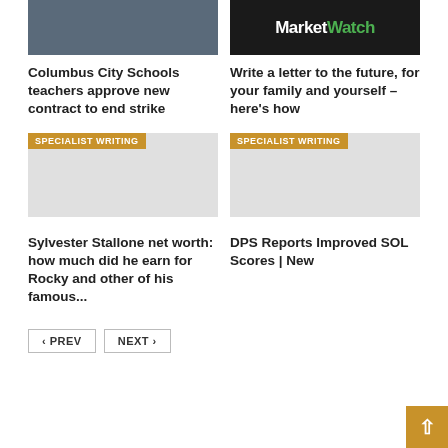[Figure (photo): Aerial view of crowd at a stadium or event]
[Figure (logo): MarketWatch logo on dark background, white 'Market' and green 'Watch']
Columbus City Schools teachers approve new contract to end strike
Write a letter to the future, for your family and yourself – here's how
SPECIALIST WRITING
[Figure (photo): Gray placeholder image with SPECIALIST WRITING badge]
SPECIALIST WRITING
[Figure (photo): Gray placeholder image with SPECIALIST WRITING badge]
Sylvester Stallone net worth: how much did he earn for Rocky and other of his famous...
DPS Reports Improved SOL Scores | New
< PREV
NEXT >